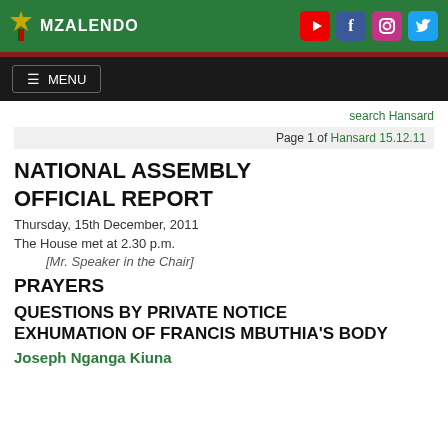MZALENDO
MENU
search Hansard
Page 1 of Hansard 15.12.11
NATIONAL ASSEMBLY OFFICIAL REPORT
Thursday, 15th December, 2011
The House met at 2.30 p.m.
[Mr. Speaker in the Chair]
PRAYERS
QUESTIONS BY PRIVATE NOTICE
EXHUMATION OF FRANCIS MBUTHIA'S BODY
Joseph Nganga Kiuna